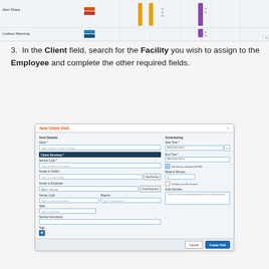[Figure (screenshot): Gantt/schedule chart showing rows for team members (Alan Sharp, Lindsey Manning) with colored schedule bars across calendar columns]
3. In the Client field, search for the Facility you wish to assign to the Employee and complete the other required fields.
[Figure (screenshot): New Client Visit modal dialog showing fields: Client, Client Services, Service Code, Assign to Facility, Assign to Employee (Arthur Thiessen), Activity Code, Reports, Skills, Service Instructions, Tags on the left; and Scheduling section with Start Time, End Time, Use Service Duration checkbox, Break in Minutes, Creates as a Recurrence, Daily Activities on the right. Cancel and Create Visit buttons at bottom.]